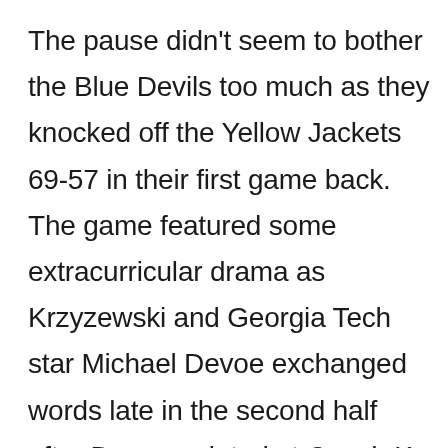The pause didn't seem to bother the Blue Devils too much as they knocked off the Yellow Jackets 69-57 in their first game back. The game featured some extracurricular drama as Krzyzewski and Georgia Tech star Michael Devoe exchanged words late in the second half after Devoe pointed at Coach K and the Duke bench following a basket that prompted a Duke timeout.